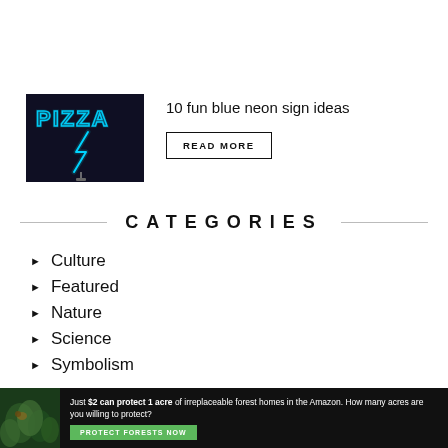[Figure (photo): Blue neon pizza sign with lightning bolt on dark background]
10 fun blue neon sign ideas
READ MORE
CATEGORIES
Culture
Featured
Nature
Science
Symbolism
[Figure (photo): Amazon forest banner ad: Just $2 can protect 1 acre of irreplaceable forest homes in the Amazon. How many acres are you willing to protect? PROTECT FORESTS NOW]